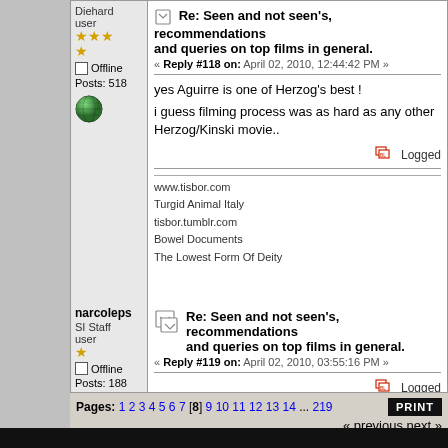Re: Seen and not seen's, recommendations and queries on top films in general. « Reply #118 on: April 02, 2010, 12:44:42 PM »
yes Aguirre is one of Herzog's best !
i guess filming process was as hard as any other Herzog/Kinski movie..
Logged
www.tisbor.com
Turgid Animal Italy
tisbor.tumblr.com
Bowel Documents
The Lowest Form Of Deity
Re: Seen and not seen's, recommendations and queries on top films in general. « Reply #119 on: April 02, 2010, 03:55:16 PM »
Logged
narcolepsiahn.wordpress.com
Pages: 1 2 3 4 5 6 7 [8] 9 10 11 12 13 14 ... 219
« previous next »